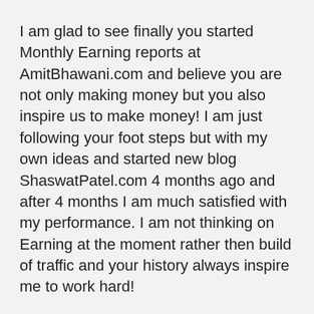I am glad to see finally you started Monthly Earning reports at AmitBhawani.com and believe you are not only making money but you also inspire us to make money! I am just following your foot steps but with my own ideas and started new blog ShaswatPatel.com 4 months ago and after 4 months I am much satisfied with my performance. I am not thinking on Earning at the moment rather then build of traffic and your history always inspire me to work hard!
Many of you guys also know me as a writer at AmitBhawani.com and believe